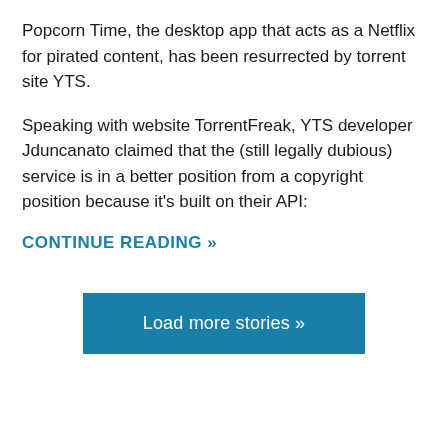Popcorn Time, the desktop app that acts as a Netflix for pirated content, has been resurrected by torrent site YTS.
Speaking with website TorrentFreak, YTS developer Jduncanato claimed that the (still legally dubious) service is in a better position from a copyright position because it's built on their API:
CONTINUE READING »
Load more stories »